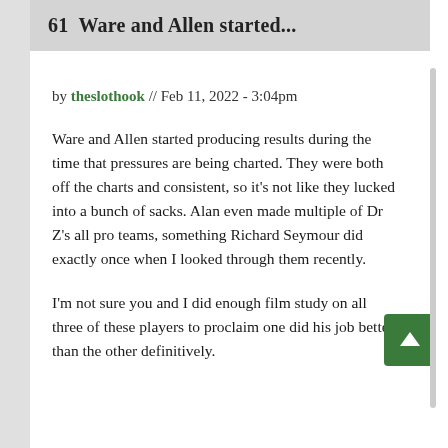61  Ware and Allen started...
by theslothook // Feb 11, 2022 - 3:04pm
Ware and Allen started producing results during the time that pressures are being charted. They were both off the charts and consistent, so it's not like they lucked into a bunch of sacks. Alan even made multiple of Dr Z's all pro teams, something Richard Seymour did exactly once when I looked through them recently.
I'm not sure you and I did enough film study on all three of these players to proclaim one did his job better than the other definitively.